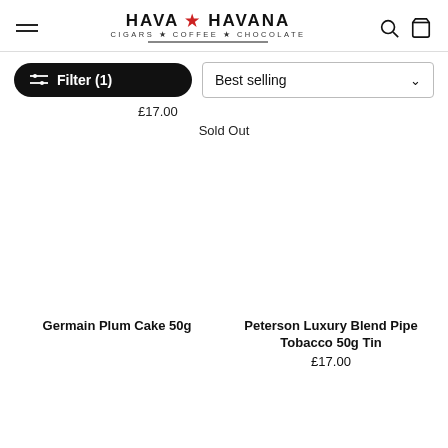HAVA HAVANA CIGARS • COFFEE • CHOCOLATE
Filter (1)
Best selling
£17.00
Sold Out
[Figure (other): Empty product image placeholder for Germain Plum Cake 50g]
Germain Plum Cake 50g
[Figure (other): Empty product image placeholder for Peterson Luxury Blend Pipe Tobacco 50g Tin]
Peterson Luxury Blend Pipe Tobacco 50g Tin
£17.00